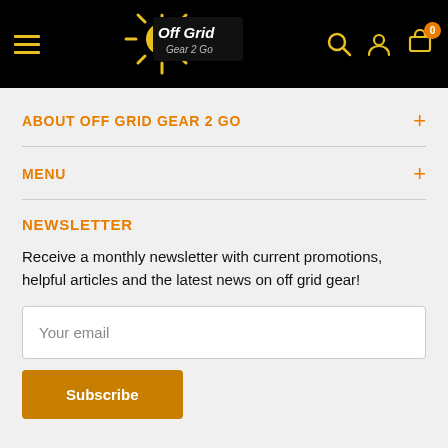Off Grid Gear 2 Go — navigation header with logo, hamburger menu, search, account, and cart icons
ABOUT OFF GRID GEAR 2 GO
MENU
NEWSLETTER
Receive a monthly newsletter with current promotions, helpful articles and the latest news on off grid gear!
Your email
Subscribe